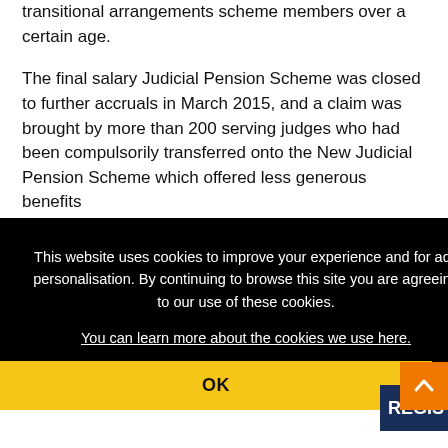transitional arrangements scheme members over a certain age.
The final salary Judicial Pension Scheme was closed to further accruals in March 2015, and a claim was brought by more than 200 serving judges who had been compulsorily transferred onto the New Judicial Pension Scheme which offered less generous benefits
n as l e was
This website uses cookies to improve your experience and for ads personalisation. By continuing to browse this site you are agreeing to our use of these cookies. You can learn more about the cookies we use here.
OK